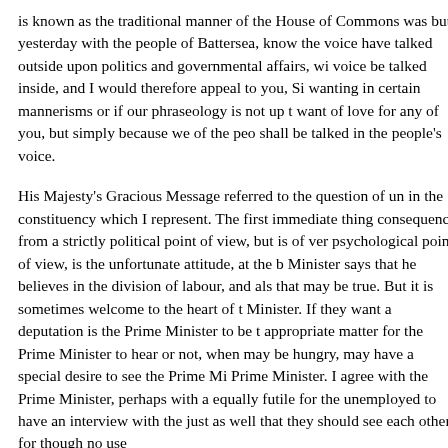is known as the traditional manner of the House of Commons was but yesterday with the people of Battersea, know the voice have talked outside upon politics and governmental affairs, wi voice be talked inside, and I would therefore appeal to you, Si wanting in certain mannerisms or if our phraseology is not up t want of love for any of you, but simply because we of the peo shall be talked in the people's voice.
His Majesty's Gracious Message referred to the question of un in the constituency which I represent. The first immediate thing consequence from a strictly political point of view, but is of ver psychological point of view, is the unfortunate attitude, at the b Minister says that he believes in the division of labour, and als that may be true. But it is sometimes welcome to the heart of t Minister. If they want a deputation is the Prime Minister to be t appropriate matter for the Prime Minister to hear or not, when may be hungry, may have a special desire to see the Prime Mi Prime Minister. I agree with the Prime Minister, perhaps with a equally futile for the unemployed to have an interview with the just as well that they should see each other, for though no use